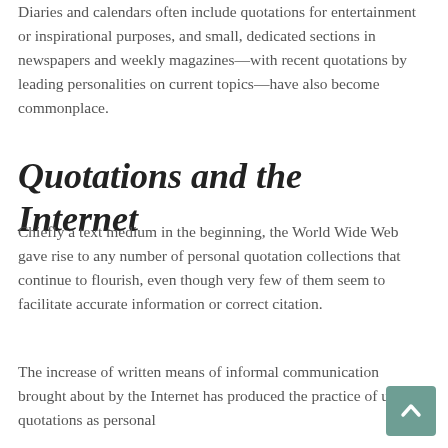Diaries and calendars often include quotations for entertainment or inspirational purposes, and small, dedicated sections in newspapers and weekly magazines—with recent quotations by leading personalities on current topics—have also become commonplace.
Quotations and the Internet
Chiefly a text medium in the beginning, the World Wide Web gave rise to any number of personal quotation collections that continue to flourish, even though very few of them seem to facilitate accurate information or correct citation.
The increase of written means of informal communication brought about by the Internet has produced the practice of using quotations as personal